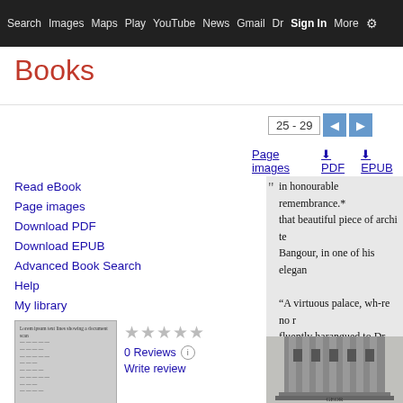Search  Images  Maps  Play  YouTube  News  Gmail  Dr Sign In More ⚙
Books
Read eBook
Page images
Download PDF
Download EPUB
Advanced Book Search
Help
My library
[Figure (other): Thumbnail of book cover/page scan]
0 Reviews  Write review
The life of Samuel Johnson. [Followed by] The journal of a tour to ..., Volume
25 - 29
Page images  PDF  EPUB
[Figure (other): Book page scan showing text: 'in honourable remembrance.* that beautiful piece of archi te Bangour, in one of his elegan "A virtuous palace, wh-re no r fluently harangued to Dr. Johnson Scotland." We surveyed that part' and a black and white architectural illustration of a building]